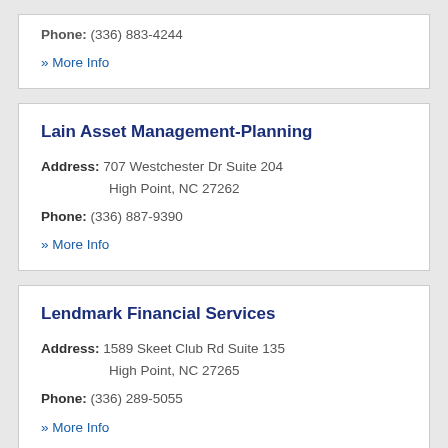Phone: (336) 883-4244
» More Info
Lain Asset Management-Planning
Address: 707 Westchester Dr Suite 204 High Point, NC 27262
Phone: (336) 887-9390
» More Info
Lendmark Financial Services
Address: 1589 Skeet Club Rd Suite 135 High Point, NC 27265
Phone: (336) 289-5055
» More Info